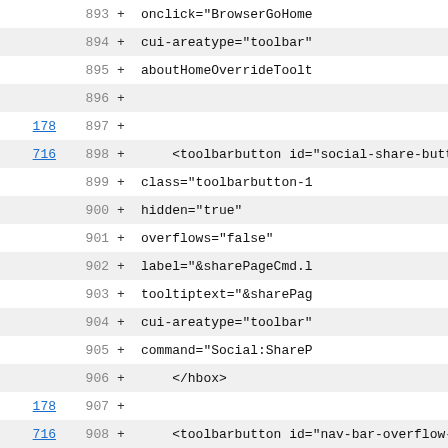| link | line | symbol | code |
| --- | --- | --- | --- |
|  | 893 | + | onclick="BrowserGoHome |
|  | 894 | + | cui-areatype="toolbar" |
|  | 895 | + | aboutHomeOverrideToolt |
|  | 896 | + |  |
| 178 | 897 | + |  |
| 716 | 898 | + | <toolbarbutton id="social-share-butto |
|  | 899 | + | class="toolbarbutton-1 |
|  | 900 | + | hidden="true" |
|  | 901 | + | overflows="false" |
|  | 902 | + | label="&sharePageCmd.l |
|  | 903 | + | tooltiptext="&sharePag |
|  | 904 | + | cui-areatype="toolbar" |
|  | 905 | + | command="Social:ShareP |
|  | 906 | + |     </hbox> |
| 178 | 907 | + |  |
| 716 | 908 | + | <toolbarbutton id="nav-bar-overflow-but |
|  | 909 | + | class="toolbarbutton-1 c |
|  | 910 | + | cui-areatype="toolbar" |
|  | 911 | + | skipintoolbarset="true" |
|  | 912 | + | tooltiptext="&navbarOver |
|  | 913 | + |  |
|  | 914 | + | <toolbaritem id="PanelUI-button" |
|  | 915 | + | class="chromoclass-toolba |